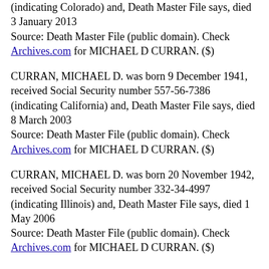(indicating Colorado) and, Death Master File says, died 3 January 2013
Source: Death Master File (public domain). Check Archives.com for MICHAEL D CURRAN. ($)
CURRAN, MICHAEL D. was born 9 December 1941, received Social Security number 557-56-7386 (indicating California) and, Death Master File says, died 8 March 2003
Source: Death Master File (public domain). Check Archives.com for MICHAEL D CURRAN. ($)
CURRAN, MICHAEL D. was born 20 November 1942, received Social Security number 332-34-4997 (indicating Illinois) and, Death Master File says, died 1 May 2006
Source: Death Master File (public domain). Check Archives.com for MICHAEL D CURRAN. ($)
CURRAN, MICHAEL D. was born 25 August 1919, received Social Security number 476-07-5822